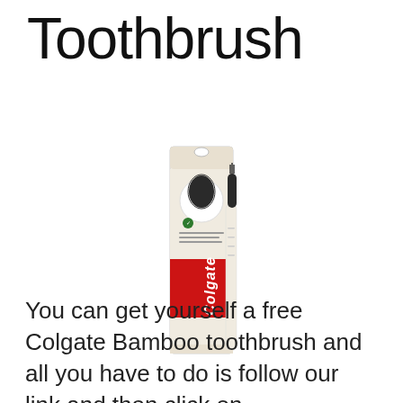Toothbrush
[Figure (photo): Colgate Bamboo toothbrush product in packaging - tall narrow box with red Colgate branding at bottom, beige/natural colored packaging, black bristle toothbrush visible]
You can get yourself a free Colgate Bamboo toothbrush and all you have to do is follow our link and then click on